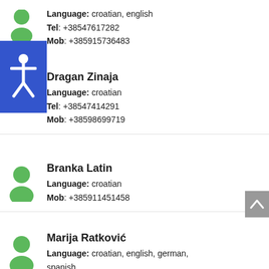Language: croatian, english
Tel: +38547617282
Mob: +385915736483
Dragan Zinaja
Language: croatian
Tel: +38547414291
Mob: +38598699719
Branka Latin
Language: croatian
Mob: +385911451458
Marija Ratković
Language: croatian, english, german, spanish